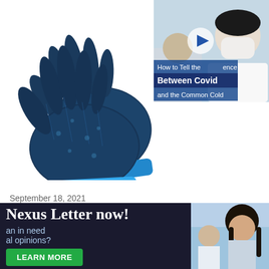[Figure (photo): Two dark blue/teal exfoliating bath gloves on a white background]
[Figure (screenshot): Video thumbnail showing a person in a medical mask with overlay text: 'How to Tell the Difference Between Covid and the Common Cold' with a play button]
September 18, 2021
Back To School Bash Facebook Live Event! WIN: Smitco’s Body Exfoliation with Exfoliating Gloves and Shower
[Figure (infographic): Advertisement banner overlay: 'Nexus Letter now! ...an in need ...al opinions? LEARN MORE' button on dark background with a photo of a woman on the right]